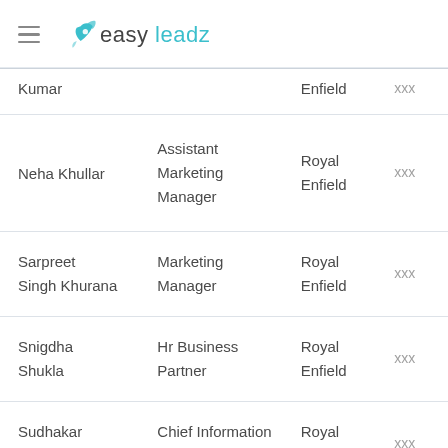easy leadz
| Name | Title | Company | Contact |
| --- | --- | --- | --- |
| Kumar |  | Enfield | xxx |
| Neha Khullar | Assistant Marketing Manager | Royal Enfield | xxx |
| Sarpreet Singh Khurana | Marketing Manager | Royal Enfield | xxx |
| Snigdha Shukla | Hr Business Partner | Royal Enfield | xxx |
| Sudhakar Bhagavatula | Chief Information Officer | Royal Enfield | xxx |